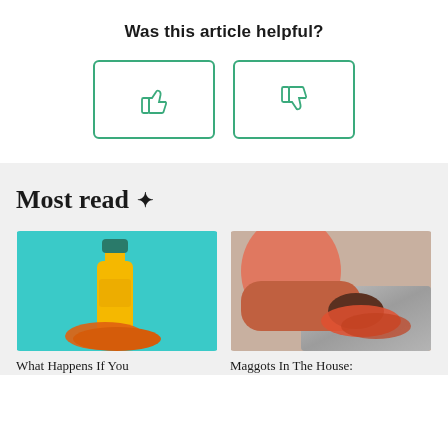Was this article helpful?
[Figure (illustration): Two voting buttons: a thumbs-up button (left) and a thumbs-down button (right), each in a rounded rectangle with green border]
Most read ✦
[Figure (photo): Yellow cleaning bottle with teal cap next to an orange cloth, on a teal background]
[Figure (photo): Person's hands wiping a metallic surface with an orange cloth]
What Happens If You
Maggots In The House: